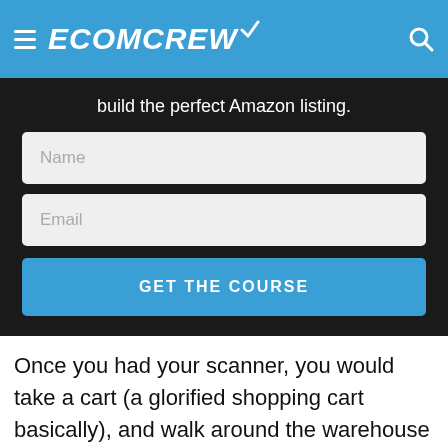ECOMCREW
build the perfect Amazon listing.
[Figure (screenshot): Web form with Name input field, Email input field, and a blue GET THE COURSE button]
Once you had your scanner, you would take a cart (a glorified shopping cart basically), and walk around the warehouse picking items as your